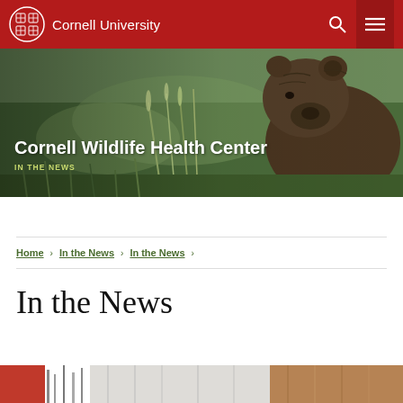Cornell University
[Figure (photo): Cornell Wildlife Health Center banner with a brown bear in a grassy field. Hero image with overlay text.]
Cornell Wildlife Health Center
IN THE NEWS
Home › In the News › In the News ›
In the News
[Figure (photo): Partial bottom image strip showing what appears to be a news article or related content image.]